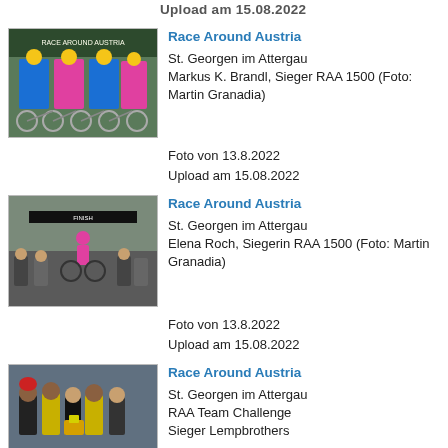Upload am 15.08.2022
[Figure (photo): Group of cyclists with bikes in front of Race Around Austria banner]
Race Around Austria
St. Georgen im Attergau
Markus K. Brandl, Sieger RAA 1500 (Foto: Martin Granadia)
Foto von 13.8.2022
Upload am 15.08.2022
[Figure (photo): Cyclist crossing finish line at Race Around Austria event with spectators]
Race Around Austria
St. Georgen im Attergau
Elena Roch, Siegerin RAA 1500 (Foto: Martin Granadia)
Foto von 13.8.2022
Upload am 15.08.2022
[Figure (photo): Group of people posing at Race Around Austria event]
Race Around Austria
St. Georgen im Attergau
RAA Team Challenge
Sieger Lempbrothers